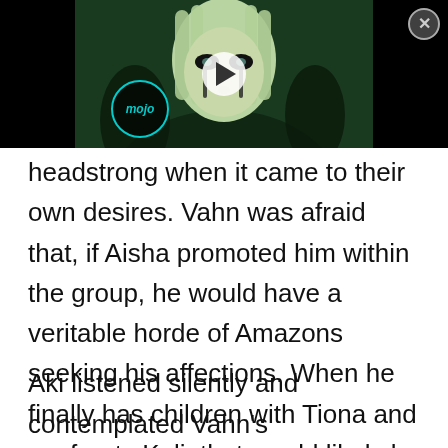[Figure (screenshot): Anime video player screenshot showing a green-haired anime character with dark eye markings/tears, with a WatchMojo logo watermark in the lower left and a play button in the center. Black bars on left and right sides of the video.]
headstrong when it came to their own desires. Vahn was afraid that, if Aisha promoted him within the group, he would have a veritable horde of Amazons seeking his affections. When he finally has children with Tiona and confronts Kali, that would likely be the catalyst for a major event if his Familia was full of Amazons at the time.
Aki listened silently and contemplated Vahn's